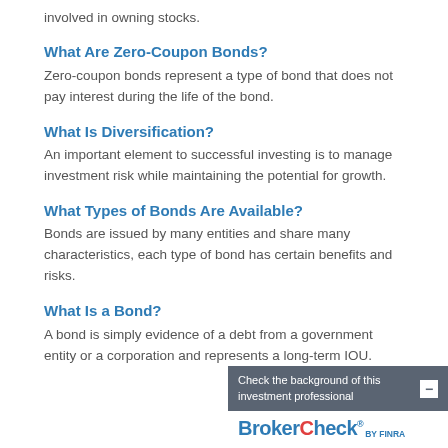involved in owning stocks.
What Are Zero-Coupon Bonds?
Zero-coupon bonds represent a type of bond that does not pay interest during the life of the bond.
What Is Diversification?
An important element to successful investing is to manage investment risk while maintaining the potential for growth.
What Types of Bonds Are Available?
Bonds are issued by many entities and share many characteristics, each type of bond has certain benefits and risks.
What Is a Bond?
A bond is simply evidence of a debt from a government entity or a corporation and represents a long-term IOU.
[Figure (other): BrokerCheck by FINRA overlay widget with 'Check the background of this investment professional' text and minus button]